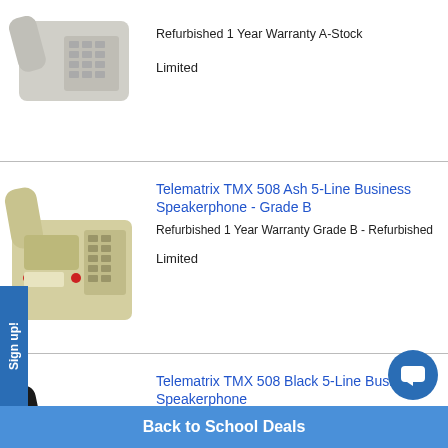[Figure (photo): Gray/white business desk phone (partial, top cropped)]
Refurbished 1 Year Warranty A-Stock
Limited
[Figure (photo): Telematrix TMX 508 Ash colored 5-line business speakerphone]
Telematrix TMX 508 Ash 5-Line Business Speakerphone - Grade B
Refurbished 1 Year Warranty Grade B - Refurbished
Limited
[Figure (photo): Telematrix TMX 508 Black 5-line business speakerphone]
Telematrix TMX 508 Black 5-Line Business Speakerphone
Refurbished 1 Year Warranty A-Stock
Limited
Back to School Deals